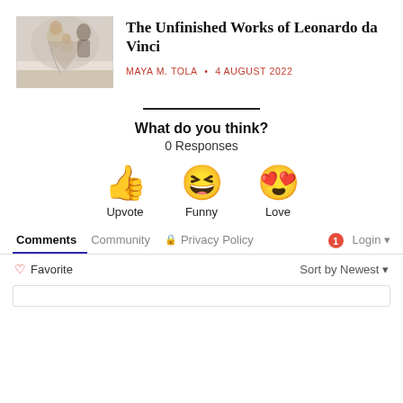[Figure (illustration): Thumbnail image of a Renaissance-style painting showing a woman with a child, in muted pale tones, resembling a Leonardo da Vinci artwork.]
The Unfinished Works of Leonardo da Vinci
MAYA M. TOLA • 4 AUGUST 2022
What do you think?
0 Responses
[Figure (infographic): Three emoji reaction icons: thumbs up (Upvote), squinting laughing face with tongue out (Funny), heart-eyes face (Love)]
Comments  Community  🔒 Privacy Policy  1  Login
♡ Favorite    Sort by Newest ▾